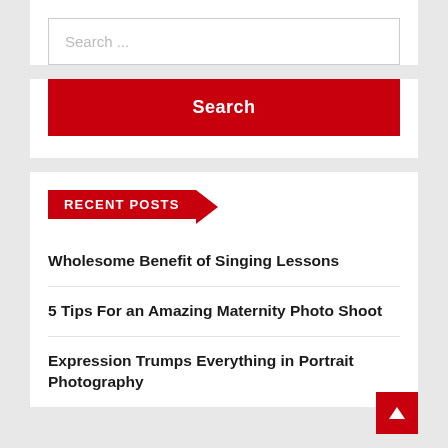Search ...
Search
RECENT POSTS
Wholesome Benefit of Singing Lessons
5 Tips For an Amazing Maternity Photo Shoot
Expression Trumps Everything in Portrait Photography